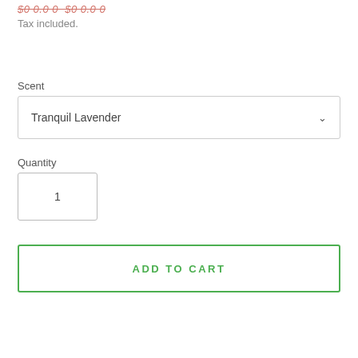Tax included.
Scent
Tranquil Lavender
Quantity
1
ADD TO CART